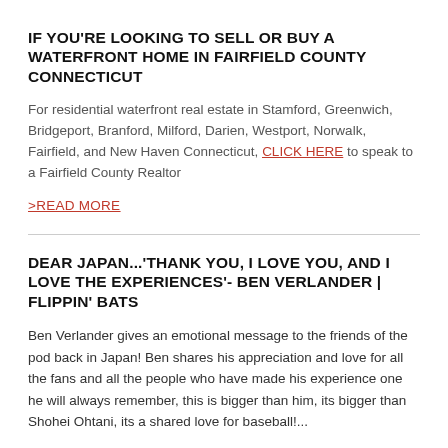IF YOU'RE LOOKING TO SELL OR BUY A WATERFRONT HOME IN FAIRFIELD COUNTY CONNECTICUT
For residential waterfront real estate in Stamford, Greenwich, Bridgeport, Branford, Milford, Darien, Westport, Norwalk, Fairfield, and New Haven Connecticut, CLICK HERE to speak to a Fairfield County Realtor
>READ MORE
DEAR JAPAN...'THANK YOU, I LOVE YOU, AND I LOVE THE EXPERIENCES'- BEN VERLANDER | FLIPPIN' BATS
Ben Verlander gives an emotional message to the friends of the pod back in Japan! Ben shares his appreciation and love for all the fans and all the people who have made his experience one he will always remember, this is bigger than him, its bigger than Shohei Ohtani, its a shared love for baseball!...